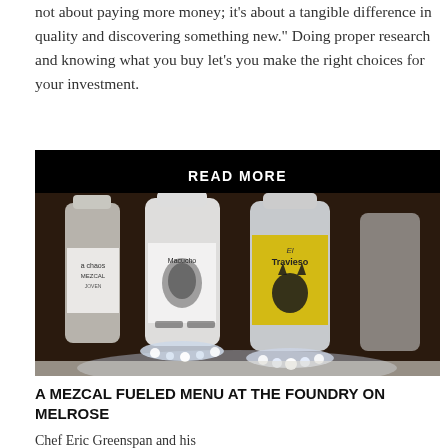not about paying more money; it’s about a tangible difference in quality and discovering something new.” Doing proper research and knowing what you buy let’s you make the right choices for your investment.
READ MORE
[Figure (photo): Photo of illuminated mezcal bottles on a lit display stand, including a white bottle and a bottle with yellow label reading Travieso with a dark creature graphic.]
A MEZCAL FUELED MENU AT THE FOUNDRY ON MELROSE
Chef Eric Greenspan and his